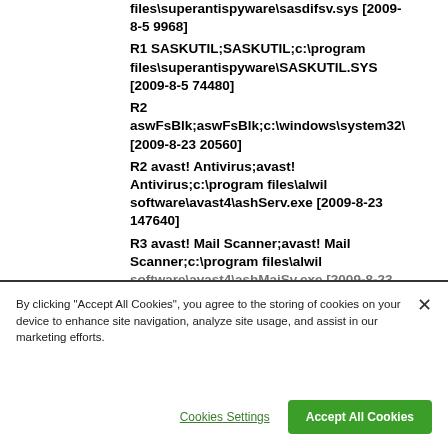R2 SASDIF...c:\program files\superantispyware\sasdifsv.sys [2009-8-5 9968]
R1 SASKUTIL;SASKUTIL;c:\program files\superantispyware\SASKUTIL.SYS [2009-8-5 74480]
R2 aswFsBlk;aswFsBlk;c:\windows\system32\ [2009-8-23 20560]
R2 avast! Antivirus;avast! Antivirus;c:\program files\alwil software\avast4\ashServ.exe [2009-8-23 147640]
R3 avast! Mail Scanner;avast! Mail Scanner;c:\program files\alwil software\avast4\ashMaiSv.exe [2009-8-23
By clicking "Accept All Cookies", you agree to the storing of cookies on your device to enhance site navigation, analyze site usage, and assist in our marketing efforts.
Cookies Settings
Accept All Cookies